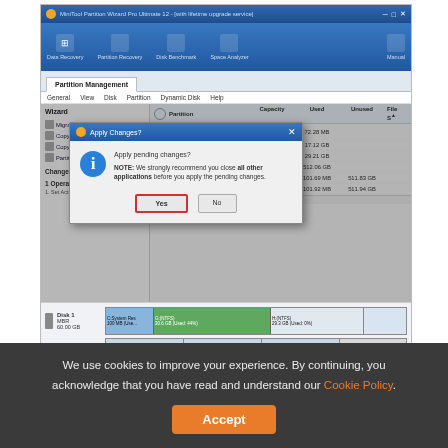[Figure (screenshot): MiniTool Partition Wizard Pro Ultimate 12 application window showing Partition Management tab with an 'Apply Changes?' dialog box overlaid. The dialog asks 'Apply pending changes?' with a NOTE warning to close all other applications before applying. It has Yes (highlighted with red border) and No buttons. The main window shows disk partitions table with columns Partition, Capacity, Used, Unused, File S. Left sidebar shows Wizard options: Migrate OS to SSD/HD Wizard, Copy Partition Wizard, Copy Disk Wizard, Partition Recovery Wizard, and '1 Operations Pending: 1. Set Active (C: | Disk 1 Partition 1)'. Disk visualization at bottom shows Disk 1 (MBR 60.00 GB) and Disk 2 (MBR 2.00 TB). Bottom action bar has Apply and Undo buttons.]
We use cookies to improve your experience. By continuing, you acknowledge that you have read and understand our Cookie Policy.
Accept